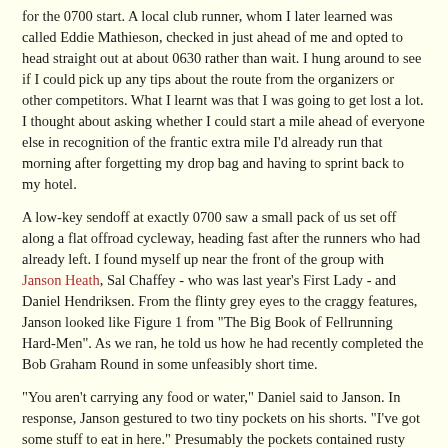for the 0700 start. A local club runner, whom I later learned was called Eddie Mathieson, checked in just ahead of me and opted to head straight out at about 0630 rather than wait. I hung around to see if I could pick up any tips about the route from the organizers or other competitors. What I learnt was that I was going to get lost a lot. I thought about asking whether I could start a mile ahead of everyone else in recognition of the frantic extra mile I'd already run that morning after forgetting my drop bag and having to sprint back to my hotel.
A low-key sendoff at exactly 0700 saw a small pack of us set off along a flat offroad cycleway, heading fast after the runners who had already left. I found myself up near the front of the group with Janson Heath, Sal Chaffey - who was last year's First Lady - and Daniel Hendriksen. From the flinty grey eyes to the craggy features, Janson looked like Figure 1 from "The Big Book of Fellrunning Hard-Men". As we ran, he told us how he had recently completed the Bob Graham Round in some unfeasibly short time.
"You aren't carrying any food or water," Daniel said to Janson. In response, Janson gestured to two tiny pockets on his shorts. "I've got some stuff to eat in here." Presumably the pockets contained rusty nails and gravel.
Daniel himself proved to be something of a dark horse. At first glance he looked dressed more for a day at the beach than an endurance event, in baggy shorts and a loose T-shirt. I initially pegged him as an